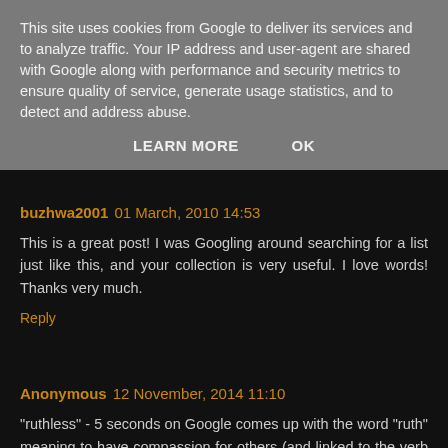This site uses cookies from Google to deliver its services and to analyze traffic. Your IP address and user-agent are shared with Google along with performance and security metrics to ensure quality of service, generate usage statistics, and to detect and address abuse.
LEARN MORE   OK
buzhwa2001  01 March, 2010 14:53
This is a great post! I was Googling around searching for a list just like this, and your collection is very useful. I love words! Thanks very much.
Reply
Anonymous  12 November, 2014 11:10
"ruthless" - 5 seconds on Google comes up with the word "ruth" meaning to have compassion for others (and linked to the verb "to rue")
Reply